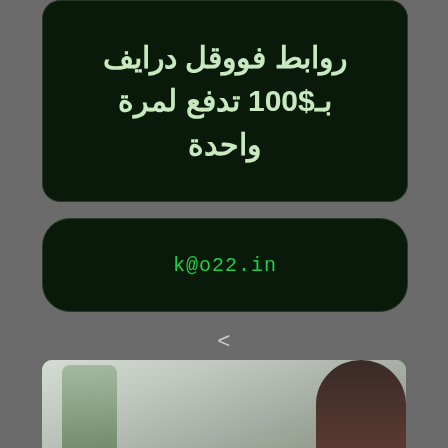روابط فووقل درايف بـ$100 تدفع لمرة واحدة
k@o22.in
<
[Figure (photo): A blurred photo showing a man with a beard smiling, with a blurred office/indoor background on the left and a lamp or object partially visible.]